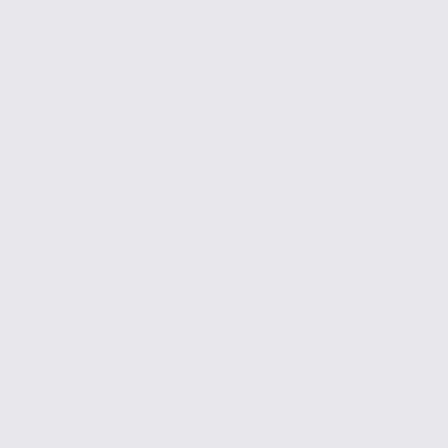[Figure (screenshot): Comment thread UI. Left gray panel. Right panel shows nested comments. Warriot comment with avatar, text 'Already know that t... me.', timestamp '3 months ago', 'Permal...' link. Three nested replies below, each with avatar, partial username, partial text ('Eve...', '3 m...'; 'Ugh... unle... 3 m...'), and a third reply showing only avatar.]